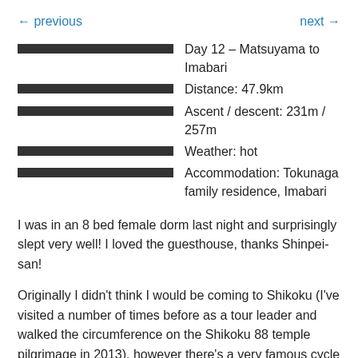← previous    next →
Day 12 – Matsuyama to Imabari
Distance: 47.9km
Ascent / descent: 231m / 257m
Weather: hot
Accommodation: Tokunaga family residence, Imabari
I was in an 8 bed female dorm last night and surprisingly slept very well! I loved the guesthouse, thanks Shinpei-san!
Originally I didn't think I would be coming to Shikoku (I've visited a number of times before as a tour leader and walked the circumference on the Shikoku 88 temple pilgrimage in 2013), however there's a very famous cycle route called the Shimanami Kaido that links Shikoku